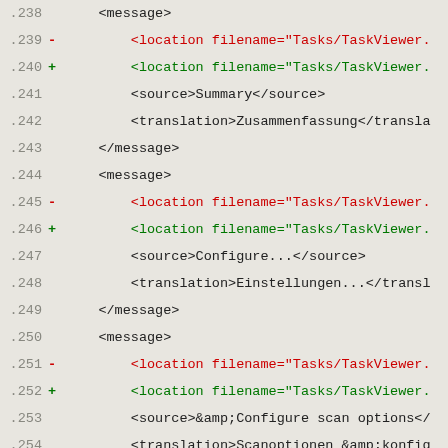Code diff showing XML lines 238-258 with diff markers
.238     <message>
.239 -       <location filename="Tasks/TaskViewer.
.240 +       <location filename="Tasks/TaskViewer.
.241         <source>Summary</source>
.242         <translation>Zusammenfassung</transla
.243     </message>
.244     <message>
.245 -       <location filename="Tasks/TaskViewer.
.246 +       <location filename="Tasks/TaskViewer.
.247         <source>Configure...</source>
.248         <translation>Einstellungen...</transl
.249     </message>
.250     <message>
.251 -       <location filename="Tasks/TaskViewer.
.252 +       <location filename="Tasks/TaskViewer.
.253         <source>&amp;Configure scan options</
.254         <translation>Scanoptionen &amp;konfig
.255     </message>
.256     <message>
.257 -       <location filename="Tasks/TaskViewer.
.258 +       <location filename="Tasks/TaskViewer.